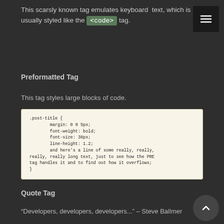This scarsly known tag emulates keyboard text, which is usually styled like the <code> tag.
Preformatted Tag
This tag styles large blocks of code.
.post-title {
        margin: 0 0 5px;
        font-weight: bold;
        font-size: 38px;
        line-height: 1.2;
        and here's a line of some really, really,
 really, really long text, just to see how the PRE
 tag handles it and to find out how it overflows;
}
Quote Tag
“Developers, developers, developers...” – Steve Ballmer